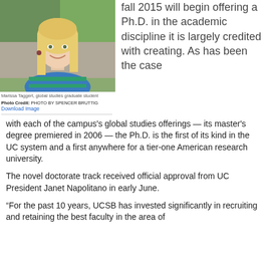[Figure (photo): Photo of Marissa Taggert, a young woman with long blonde hair wearing a blue and green striped shirt, smiling outdoors]
Marissa Taggert, global studies graduate student
Photo Credit: PHOTO BY SPENCER BRUTTIG
Download Image
fall 2015 will begin offering a Ph.D. in the academic discipline it is largely credited with creating. As has been the case with each of the campus's global studies offerings — its master's degree premiered in 2006 — the Ph.D. is the first of its kind in the UC system and a first anywhere for a tier-one American research university.
The novel doctorate track received official approval from UC President Janet Napolitano in early June.
“For the past 10 years, UCSB has invested significantly in recruiting and retaining the best faculty in the area of